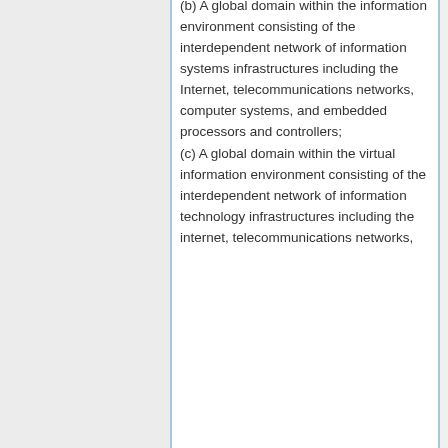(b) A global domain within the information environment consisting of the interdependent network of information systems infrastructures including the Internet, telecommunications networks, computer systems, and embedded processors and controllers;
(c) A global domain within the virtual information environment consisting of the interdependent network of information technology infrastructures including the internet, telecommunications networks, computer systems, and